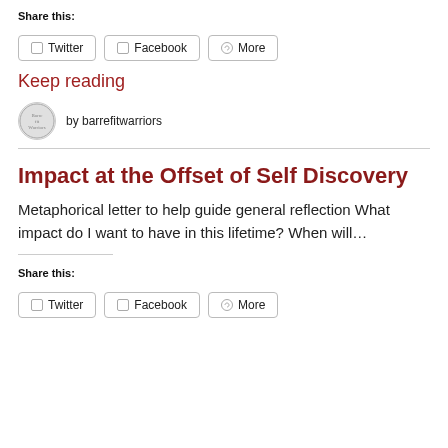Share this:
Twitter
Facebook
More
Keep reading
by barrefitwarriors
Impact at the Offset of Self Discovery
Metaphorical letter to help guide general reflection What impact do I want to have in this lifetime? When will…
Share this:
Twitter
Facebook
More